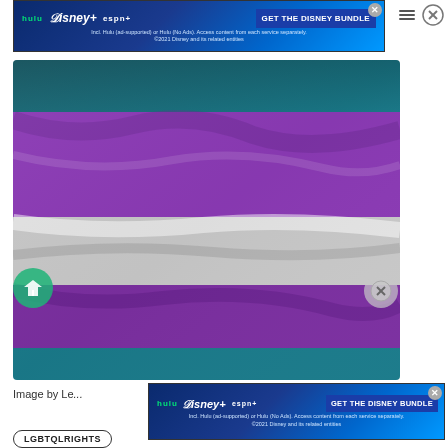[Figure (screenshot): Disney Bundle advertisement banner at the top: hulu, Disney+, ESPN+ logos with 'GET THE DISNEY BUNDLE' call to action on blue gradient background. Subtext: 'Incl. Hulu (ad-supported) or Hulu (No Ads). Access content from each service separately. ©2021 Disney and its related entities']
[Figure (photo): Close-up photograph of fabric folds in a pride flag with horizontal stripes: teal/blue at top, purple, white/grey, purple, and teal/blue at bottom — resembling a genderfluid or similar LGBTQ+ pride flag.]
Image by Le...
[Figure (screenshot): Disney Bundle advertisement banner: hulu, Disney+, ESPN+ logos with 'GET THE DISNEY BUNDLE' call to action. Subtext: 'Incl. Hulu (ad-supported) or Hulu (No Ads). Access content from each service separately. ©2021 Disney and its related entities']
LGBTQLRIGHTS